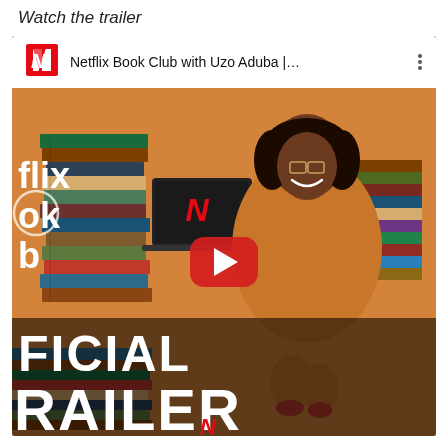Watch the trailer
[Figure (screenshot): YouTube embed thumbnail for 'Netflix Book Club with Uzo Aduba |...' showing a woman in an orange dress seated among stacks of books, with a Netflix N logo on a laptop, white YouTube top bar with Netflix logo and title, and a red play button overlay. Text overlay reads 'OFFICIAL TRAILER' in white.]